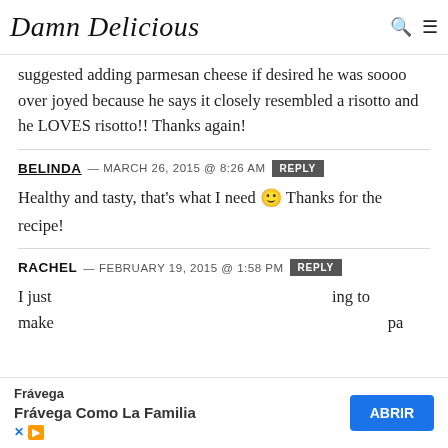Damn Delicious
suggested adding parmesan cheese if desired he was soooo over joyed because he says it closely resembled a risotto and he LOVES risotto!! Thanks again!
BELINDA — MARCH 26, 2015 @ 8:26 AM REPLY
Healthy and tasty, that's what I need 🙂 Thanks for the recipe!
RACHEL — FEBRUARY 19, 2015 @ 1:58 PM REPLY
I just [   ] ing to make [   ] pa